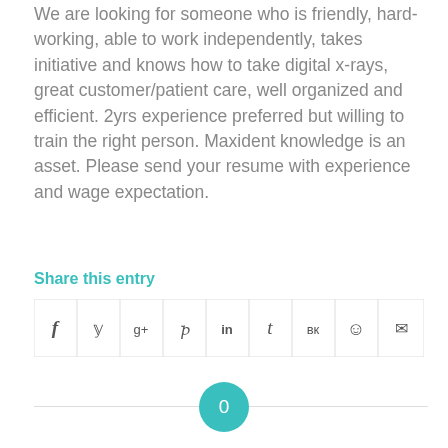We are looking for someone who is friendly, hard-working, able to work independently, takes initiative and knows how to take digital x-rays, great customer/patient care, well organized and efficient. 2yrs experience preferred but willing to train the right person. Maxident knowledge is an asset. Please send your resume with experience and wage expectation.
Share this entry
[Figure (other): Social sharing icons row: Facebook, Twitter, Google+, Pinterest, LinkedIn, Tumblr, VK, Reddit, Email]
0